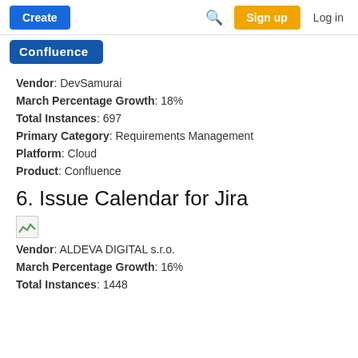Create | [search] | Sign up | Log in
[Figure (logo): Confluence logo banner with blue background]
Vendor: DevSamurai
March Percentage Growth: 18%
Total Instances: 697
Primary Category: Requirements Management
Platform: Cloud
Product: Confluence
6. Issue Calendar for Jira
[Figure (illustration): Broken/placeholder image icon]
Vendor: ALDEVA DIGITAL s.r.o.
March Percentage Growth: 16%
Total Instances: 1448